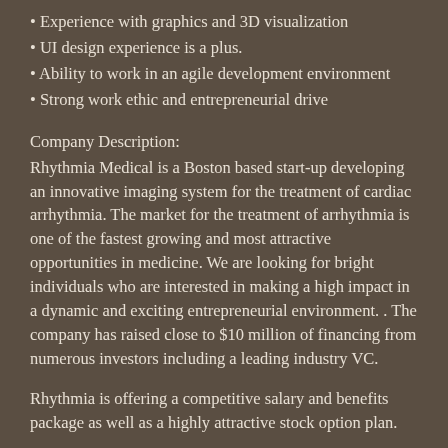Experience with graphics and 3D visualization
UI design experience is a plus.
Ability to work in an agile development environment
Strong work ethic and entrepreneurial drive
Company Description:
Rhythmia Medical is a Boston based start-up developing an innovative imaging system for the treatment of cardiac arrhythmia. The market for the treatment of arrhythmia is one of the fastest growing and most attractive opportunities in medicine. We are looking for bright individuals who are interested in making a high impact in a dynamic and exciting entrepreneurial environment. . The company has raised close to $10 million of financing from numerous investors including a leading industry VC.
Rhythmia is offering a competitive salary and benefits package as well as a highly attractive stock option plan.